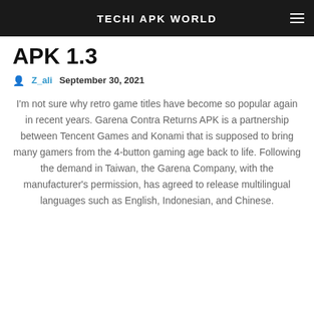TECHI APK WORLD
APK 1.3
Z_ali  September 30, 2021
I'm not sure why retro game titles have become so popular again in recent years. Garena Contra Returns APK is a partnership between Tencent Games and Konami that is supposed to bring many gamers from the 4-button gaming age back to life. Following the demand in Taiwan, the Garena Company, with the manufacturer's permission, has agreed to release multilingual languages such as English, Indonesian, and Chinese.